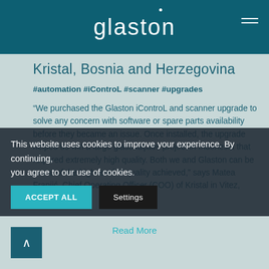glaston
Kristal, Bosnia and Herzegovina
#automation #iControL #scanner #upgrades
“We purchased the Glaston iControL and scanner upgrade to solve any concern with software or spare parts availability before they became an issue. Once installed, the upgrade helped us win a large glass façade project in Indonesia that required extremely high quality. Both we and Glaston can be proud of the high level of quality achieved,” says Matea Franjić, Chief Operating Officer (COO) of Kristal in Vitez, Bosnia and
This website uses cookies to improve your experience. By continuing, you agree to our use of cookies.
Read More